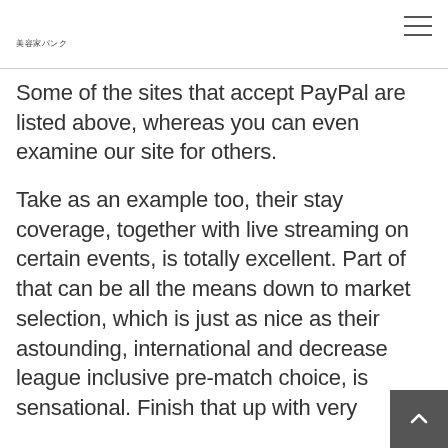美容家パンク
Some of the sites that accept PayPal are listed above, whereas you can even examine our site for others.
Take as an example too, their stay coverage, together with live streaming on certain events, is totally excellent. Part of that can be all the means down to market selection, which is just as nice as their astounding, international and decrease league inclusive pre-match choice, is sensational. Finish that up with very